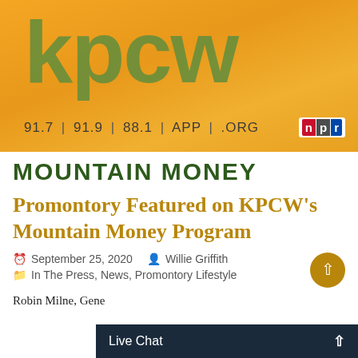[Figure (logo): KPCW radio station banner with orange/yellow background, large green 'kpcw' letters, frequency info '91.7 | 91.9 | 88.1 | APP | .ORG' and NPR logo]
MOUNTAIN MONEY
Promontory Featured on KPCW's Mountain Money Program
September 25, 2020  Willie Griffith
In The Press, News, Promontory Lifestyle
Robin Milne, Gene
Live Chat